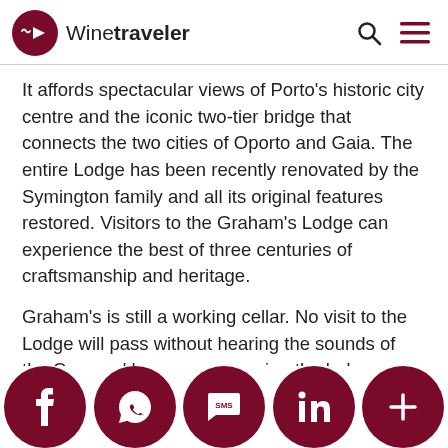Winetraveler
It affords spectacular views of Porto's historic city centre and the iconic two-tier bridge that connects the two cities of Oporto and Gaia. The entire Lodge has been recently renovated by the Symington family and all its original features restored. Visitors to the Graham's Lodge can experience the best of three centuries of craftsmanship and heritage.
Graham's is still a working cellar. No visit to the Lodge will pass without hearing the sounds of the Coopers' hammers or seeing the lodgemen collecting samples for the tasting room. The building currently houses over 2,000 pipes (oak
[Figure (infographic): Social sharing bar with five dark red circular buttons: Facebook (f), WhatsApp, SMS, LinkedIn (in), and More (+)]